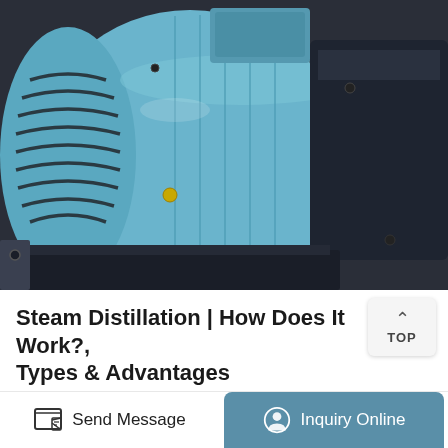[Figure (photo): Close-up photo of a light blue electric motor mounted on dark industrial equipment/base]
Steam Distillation | How Does It Work?, Types & Advantages
Oct 31, 2019 · This is a relatively simple type of steam distillation and is used in various organic chemistry laboratories. In this method, substance to be separated and water is placed in a flask and thus steam source is present inside the apparatus. The standard apparatus used for
Send Message   Inquiry Online